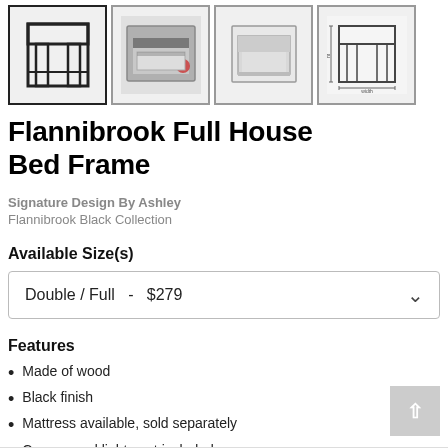[Figure (photo): Four product thumbnail images of the Flannibrook Full House Bed Frame: wireframe outline, styled room photo, angled view with mattress, and dimensions diagram]
Flannibrook Full House Bed Frame
Signature Design By Ashley
Flannibrook Black Collection
Available Size(s)
Double / Full  -  $279
Features
Made of wood
Black finish
Mattress available, sold separately
Canopy and lights not included